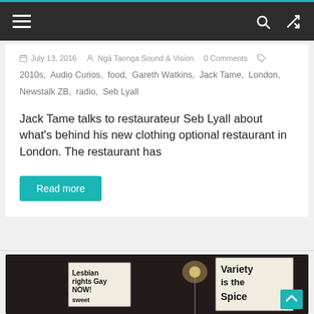Navigation bar with hamburger menu, search icon, and shuffle icon
July 13, 2016  Ngā Taonga Sound & Vision  0 Comments
2010s, Audio Curios, food, Gareth Watkins, Jack Tame, London, Newstalk ZB, radio, Seb Lyall
Jack Tame talks to restaurateur Seb Lyall about what's behind his new clothing optional restaurant in London. The restaurant has
Read more
[Figure (photo): Night-time protest scene with two handwritten signs. Left sign reads 'Lesbian rights Gay NOW!' and right sign reads 'Variety is the Spice']